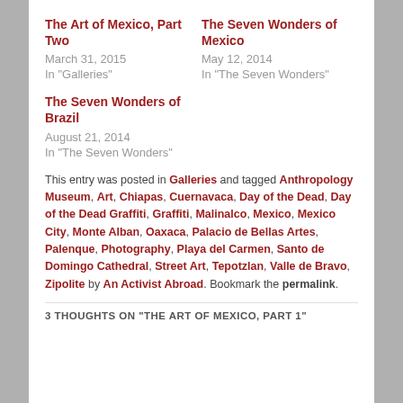The Art of Mexico, Part Two
March 31, 2015
In "Galleries"
The Seven Wonders of Mexico
May 12, 2014
In "The Seven Wonders"
The Seven Wonders of Brazil
August 21, 2014
In "The Seven Wonders"
This entry was posted in Galleries and tagged Anthropology Museum, Art, Chiapas, Cuernavaca, Day of the Dead, Day of the Dead Graffiti, Graffiti, Malinalco, Mexico, Mexico City, Monte Alban, Oaxaca, Palacio de Bellas Artes, Palenque, Photography, Playa del Carmen, Santo de Domingo Cathedral, Street Art, Tepotzlan, Valle de Bravo, Zipolite by An Activist Abroad. Bookmark the permalink.
3 THOUGHTS ON "THE ART OF MEXICO, PART 1"